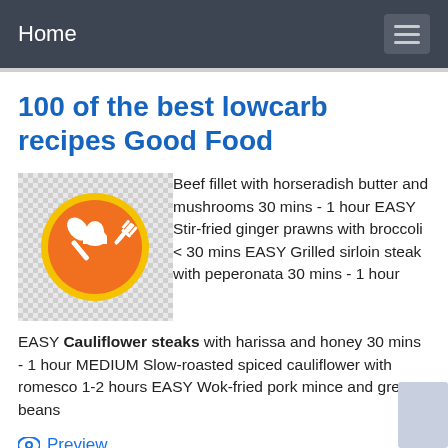Home
100 of the best lowcarb recipes Good Food
[Figure (logo): Orange circular logo with white crossed spoon and fork chef icon]
Beef fillet with horseradish butter and mushrooms 30 mins - 1 hour EASY Stir-fried ginger prawns with broccoli < 30 mins EASY Grilled sirloin steak with peperonata 30 mins - 1 hour EASY Cauliflower steaks with harissa and honey 30 mins - 1 hour MEDIUM Slow-roasted spiced cauliflower with romesco 1-2 hours EASY Wok-fried pork mince and green beans
Preview
See Also: 1960's school cafeteria menu recipes